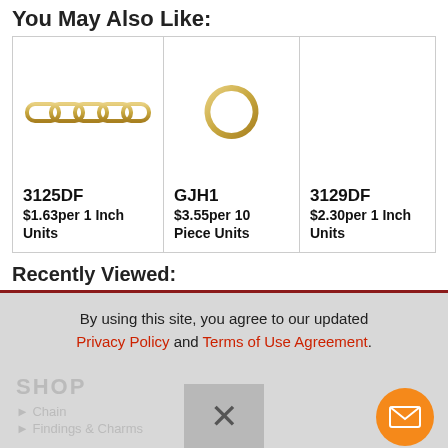You May Also Like:
[Figure (photo): Product image of 3125DF - gold paperclip chain links]
3125DF
$1.63per 1 Inch Units
[Figure (photo): Product image of GJH1 - gold jump ring]
GJH1
$3.55per 10 Piece Units
3129DF
$2.30per 1 Inch Units
Recently Viewed:
By using this site, you agree to our updated Privacy Policy and Terms of Use Agreement.
SHOP
Chain
Findings & Charms